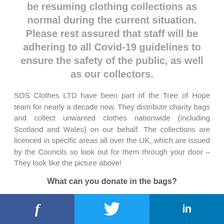be resuming clothing collections as normal during the current situation. Please rest assured that staff will be adhering to all Covid-19 guidelines to ensure the safety of the public, as well as our collectors.
SOS Clothes LTD have been part of the Tree of Hope team for nearly a decade now. They distribute charity bags and collect unwanted clothes nationwide (including Scotland and Wales) on our behalf. The collections are licenced in specific areas all over the UK, which are issued by the Councils so look out for them through your door – They look like the picture above!
What can you donate in the bags?
Good condition reusable clothing, paired shoes/footwear,
Facebook | Twitter | LinkedIn